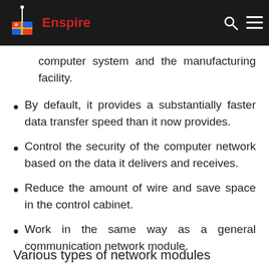Enspire
computer system and the manufacturing facility.
By default, it provides a substantially faster data transfer speed than it now provides.
Control the security of the computer network based on the data it delivers and receives.
Reduce the amount of wire and save space in the control cabinet.
Work in the same way as a general communication network module.
Various types of network modules